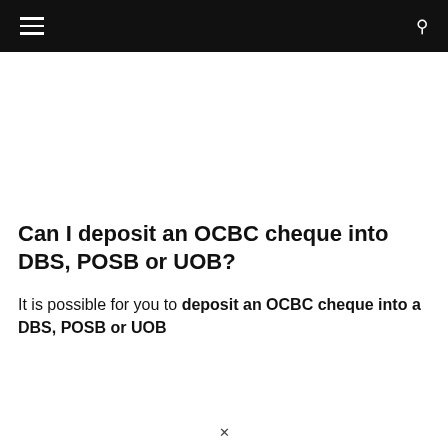Navigation bar with hamburger menu and search icon
Can I deposit an OCBC cheque into DBS, POSB or UOB?
It is possible for you to deposit an OCBC cheque into a DBS, POSB or UOB